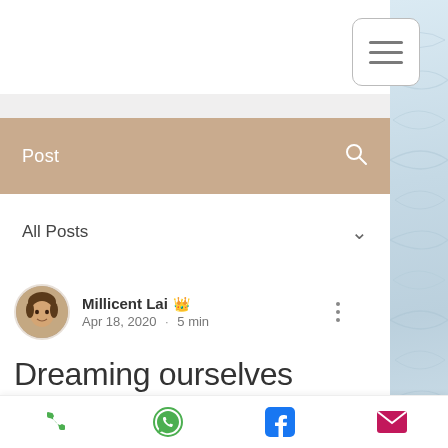[Figure (screenshot): Hamburger menu button (three horizontal lines) in a rounded rectangle, top-right corner]
Post
All Posts
Millicent Lai · Apr 18, 2020 · 5 min
Dreaming ourselves into shape 𝐋𝐋𝐋𝐋
Phone | WhatsApp | Facebook | Email